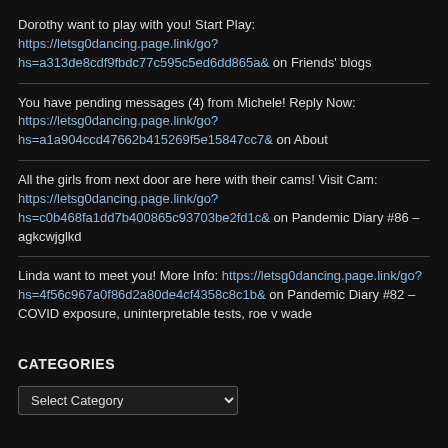Dorothy want to play with you! Start Play: https://letsg0dancing.page.link/go?hs=a313de8cdf9fbdc77c595c5ed6dd865a& on Friends' blogs
You have pending messages (4) from Michele! Reply Now: https://letsg0dancing.page.link/go?hs=a1a904ccd47662b415269f5e15847cc7& on About
All the girls from next door are here with their cams! Visit Cam: https://letsg0dancing.page.link/go?hs=c0b468fa1dd7b400865c93703be2fd1c& on Pandemic Diary #86 – agkcwjglkd
Linda want to meet you! More Info: https://letsg0dancing.page.link/go?hs=4f56c967a0f86d2a80de4cf4358c8c1b& on Pandemic Diary #82 – COVID exposure, uninterpretable tests, roe v wade
CATEGORIES